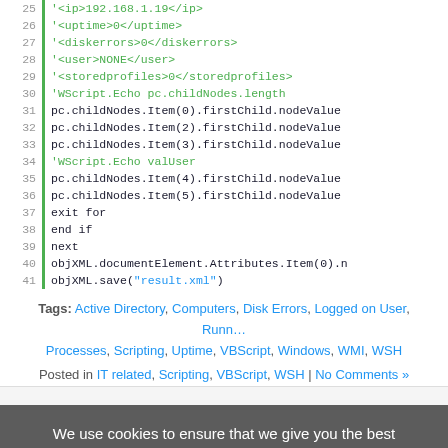[Figure (screenshot): Code block showing VBScript lines 25-41 with green highlighted XML string lines and blue string 'result.xml']
Tags: Active Directory, Computers, Disk Errors, Logged on User, Running Processes, Scripting, Uptime, VBScript, Windows, WMI, WSH
Posted in IT related, Scripting, VBScript, WSH | No Comments »
We use cookies to ensure that we give you the best experience on our website. If you continue to use this site we will assume that you are happy with it.
LegacyCode's blog is proudly powered by Entries (RSS) and Comments (RSS)